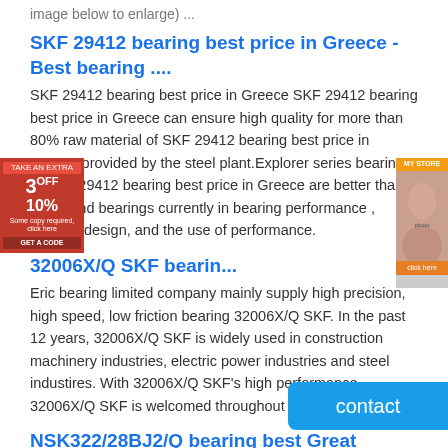image below to enlarge) ...
SKF 29412 bearing best price in Greece - Best bearing ....
SKF 29412 bearing best price in Greece SKF 29412 bearing best price in Greece can ensure high quality for more than 80% raw material of SKF 29412 bearing best price in Greece provided by the steel plant.Explorer series bearing of SKF 29412 bearing best price in Greece are better than any brand bearings currently in bearing performance , lifetime, design, and the use of performance.
32006X/Q SKF bearin...
Eric bearing limited company mainly supply high precision, high speed, low friction bearing 32006X/Q SKF. In the past 12 years, 32006X/Q SKF is widely used in construction machinery industries, electric power industries and steel industires. With 32006X/Q SKF's high performance, 32006X/Q SKF is welcomed throughout the world.
NSK322/28BJ2/Q bearing best Great service NSK NSK322 ....
Best NSK322/28BJ2/Q Bearing, NSK is one of our best-selling products. We have the most detailed information about it. NSK NSK322/28BJ2/Q Bearing is mainly used in construction machinery, machine tools, automobile, metallurgy, mining, petroleum, machinery, electricity, railway industries.